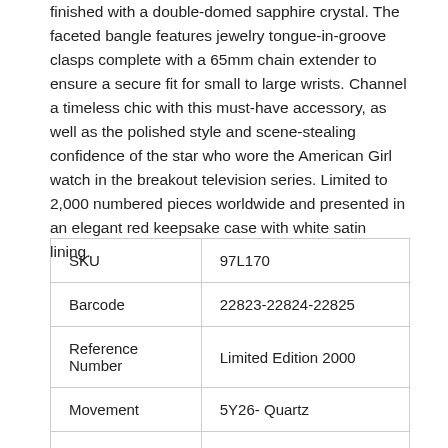finished with a double-domed sapphire crystal. The faceted bangle features jewelry tongue-in-groove clasps complete with a 65mm chain extender to ensure a secure fit for small to large wrists. Channel a timeless chic with this must-have accessory, as well as the polished style and scene-stealing confidence of the star who wore the American Girl watch in the breakout television series. Limited to 2,000 numbered pieces worldwide and presented in an elegant red keepsake case with white satin lining.
| SKU | 97L170 |
| Barcode | 22823-22824-22825 |
| Reference Number | Limited Edition 2000 |
| Movement | 5Y26- Quartz |
| Case Size | 16.7mm |